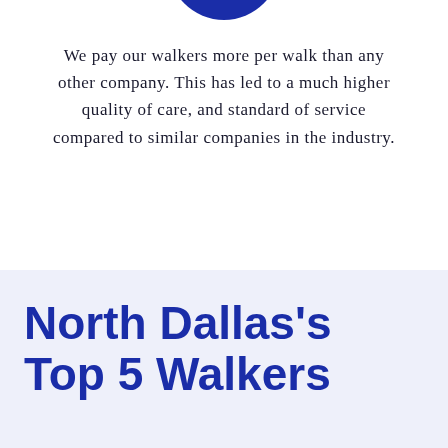[Figure (logo): Partial blue circle logo at top of page, cropped at top edge]
We pay our walkers more per walk than any other company. This has led to a much higher quality of care, and standard of service compared to similar companies in the industry.
North Dallas's Top 5 Walkers
...